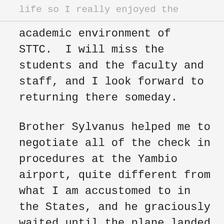life so I really enjoyed the
academic environment of STTC.  I will miss the students and the faculty and staff, and I look forward to returning there someday.
Brother Sylvanus helped me to negotiate all of the check in procedures at the Yambio airport, quite different from what I am accustomed to in the States, and he graciously waited until the plane landed and everyone on the incoming flight, as well as all of the cargo, had been unloaded and we were able to board the flight.